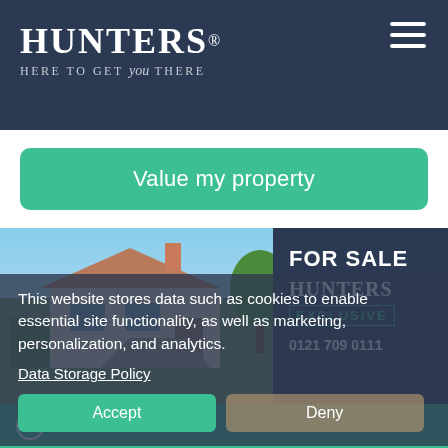HUNTERS® — HERE TO GET you THERE
Value my property
[Figure (photo): Exterior photo of a residential bungalow with a Hunters For Sale sign in the foreground. Blue sky background, green garden visible.]
This website stores data such as cookies to enable essential site functionality, as well as marketing, personalization, and analytics.
Data Storage Policy
Accept
Deny
Book a free valuation